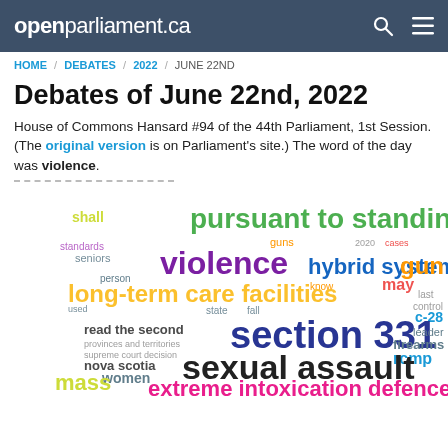openparliament.ca
HOME / DEBATES / 2022 / JUNE 22ND
Debates of June 22nd, 2022
House of Commons Hansard #94 of the 44th Parliament, 1st Session. (The original version is on Parliament's site.) The word of the day was violence.
[Figure (infographic): Word cloud from the June 22nd 2022 debates featuring terms like 'pursuant to standing', 'violence', 'hybrid system', 'gun', 'long-term care facilities', 'section 331', 'sexual assault', 'extreme intoxication defence', and many more in various colors and sizes.]